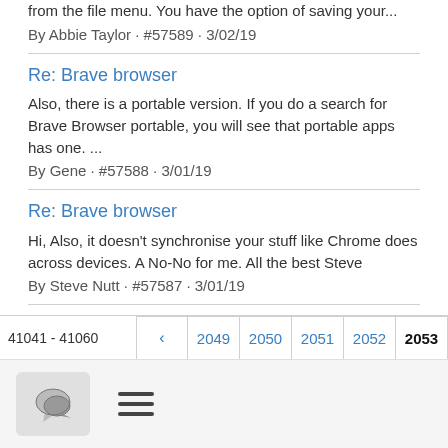from the file menu. You have the option of saving your...
By Abbie Taylor · #57589 · 3/02/19
Re: Brave browser
Also, there is a portable version. If you do a search for Brave Browser portable, you will see that portable apps has one. ...
By Gene · #57588 · 3/01/19
Re: Brave browser
Hi, Also, it doesn't synchronise your stuff like Chrome does across devices. A No-No for me. All the best Steve
By Steve Nutt · #57587 · 3/01/19
Re: backing up thunderbird
Hi, no problems fully accessible using Nvda.
By Kevin Cussick · #57586 · 3/01/19
[Figure (screenshot): Pagination bar showing page navigation buttons: back arrow, pages 2049, 2050, 2051, 2052, and active page 2053. Left side shows message range 41041 - 41060.]
[Figure (screenshot): Toolbar with chat bubble icon button and hamburger menu icon.]